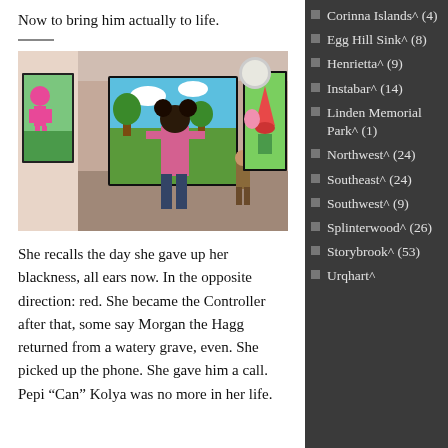Now to bring him actually to life.
[Figure (screenshot): A virtual world / game screenshot showing two avatars in an art gallery with colorful paintings on the walls.]
She recalls the day she gave up her blackness, all ears now. In the opposite direction: red. She became the Controller after that, some say Morgan the Hagg returned from a watery grave, even. She picked up the phone. She gave him a call. Pepi “Can” Kolya was no more in her life.
Corinna Islands^ (4)
Egg Hill Sink^ (8)
Henrietta^ (9)
Instabar^ (14)
Linden Memorial Park^ (1)
Northwest^ (24)
Southeast^ (24)
Southwest^ (9)
Splinterwood^ (26)
Storybrook^ (53)
Urqhart^